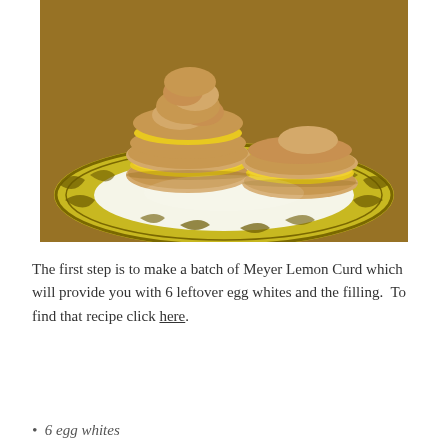[Figure (photo): Photograph of lemon curd sandwich cookies (meringue or biscuit rounds filled with bright yellow lemon curd) stacked on a decorative yellow plate with ornate dark brown pattern, placed on a wooden surface.]
The first step is to make a batch of Meyer Lemon Curd which will provide you with 6 leftover egg whites and the filling.  To find that recipe click here.
6 egg whites